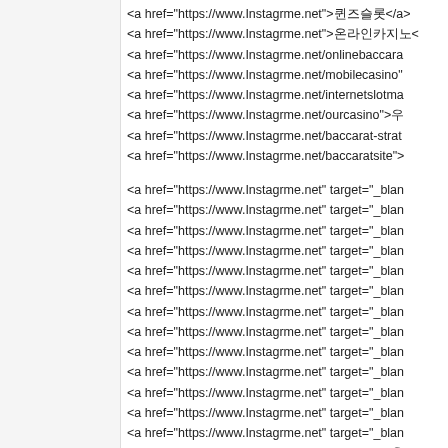<a href="https://www.Instagrme.net">퀸즈슬롯</a>
<a href="https://www.Instagrme.net">온라인카지노<
<a href="https://www.Instagrme.net/onlinebaccara
<a href="https://www.Instagrme.net/mobilecasino"
<a href="https://www.Instagrme.net/internetslotma
<a href="https://www.Instagrme.net/ourcasino">우
<a href="https://www.Instagrme.net/baccarat-strat
<a href="https://www.Instagrme.net/baccaratsite">
<a href="https://www.Instagrme.net" target="_blan
<a href="https://www.Instagrme.net" target="_blan
<a href="https://www.Instagrme.net" target="_blan
<a href="https://www.Instagrme.net" target="_blan
<a href="https://www.Instagrme.net" target="_blan
<a href="https://www.Instagrme.net" target="_blan
<a href="https://www.Instagrme.net" target="_blan
<a href="https://www.Instagrme.net" target="_blan
<a href="https://www.Instagrme.net" target="_blan
<a href="https://www.Instagrme.net" target="_blan
<a href="https://www.Instagrme.net" target="_blan
<a href="https://www.Instagrme.net" target="_blan
<a href="https://www.Instagrme.net" target="_blan
<a href="https://lnstagrme.net" target="_blank">온